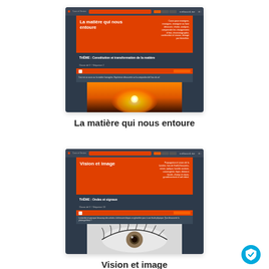[Figure (screenshot): Screenshot of a netboard.me educational page titled 'La matière qui nous entoure' with theme 'Constitution et transformation de la matière' showing a sunset image]
La matière qui nous entoure
[Figure (screenshot): Screenshot of a netboard.me educational page titled 'Vision et image' with theme 'Ondes et signaux' showing an eye image]
Vision et image